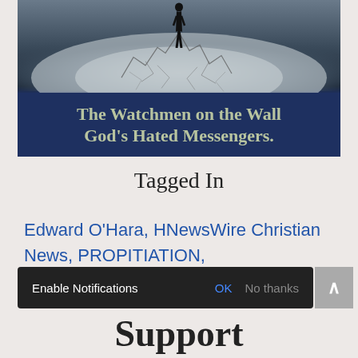[Figure (illustration): Book cover image showing a silhouetted figure standing on cracked earth with a dramatic sky. Blue band at bottom with text: 'The Watchmen on the Wall God's Hated Messengers.']
Tagged In
Edward O'Hara, HNewsWire Christian News, PROPITIATION, RECONCILIATION, Redemption
Enable Notifications  OK  No thanks
Support